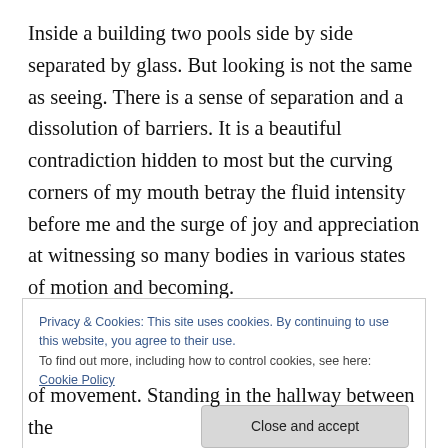Inside a building two pools side by side separated by glass. But looking is not the same as seeing. There is a sense of separation and a dissolution of barriers. It is a beautiful contradiction hidden to most but the curving corners of my mouth betray the fluid intensity before me and the surge of joy and appreciation at witnessing so many bodies in various states of motion and becoming.

Young bodies expand and explore the depths of movement with eagerness and energy while larger bodies next door also move with purpose and focus. Technique
Privacy & Cookies: This site uses cookies. By continuing to use this website, you agree to their use.
To find out more, including how to control cookies, see here: Cookie Policy
[Close and accept]
of movement. Standing in the hallway between the